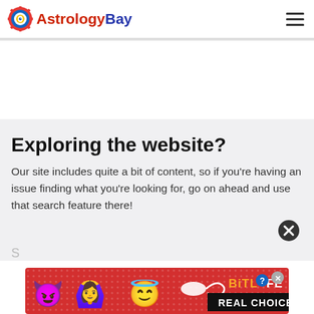AstrologyBay
Exploring the website?
Our site includes quite a bit of content, so if you're having an issue finding what you're looking for, go on ahead and use that search feature there!
[Figure (screenshot): BitLife Real Choices advertisement banner with colorful emoji characters on red background]